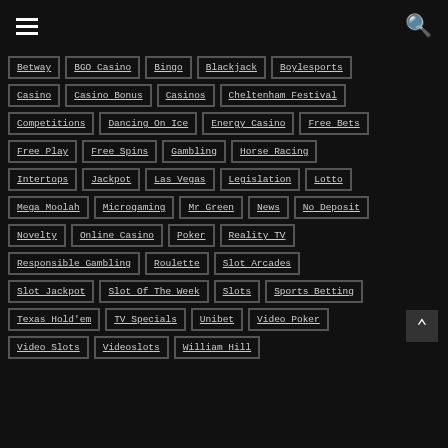Navigation header with hamburger menu and search icon
Betway
BGO Casino
Bingo
Blackjack
Boylesports
Casino
Casino Bonus
Casinos
Cheltenham Festival
Competitions
Dancing On Ice
Energy Casino
Free Bets
Free Play
Free Spins
Gambling
Horse Racing
Intertops
Jackpot
Las Vegas
Legislation
Lotto
Mega Moolah
Microgaming
Mr Green
News
No Deposit
Novelty
Online Casino
Poker
Reality TV
Responsible Gambling
Roulette
Slot Arcades
Slot Jackpot
Slot Of The Week
Slots
Sports Betting
Texas Hold'em
TV Specials
Unibet
Video Poker
Video Slots
Videoslots
William Hill